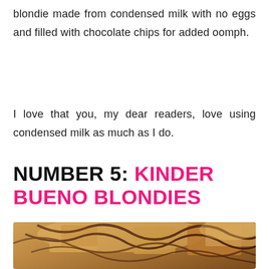blondie made from condensed milk with no eggs and filled with chocolate chips for added oomph.
I love that you, my dear readers, love using condensed milk as much as I do.
NUMBER 5: KINDER BUENO BLONDIES
[Figure (photo): Close-up photo of Kinder Bueno blondies with chocolate drizzle on top, showing layered brownie-like texture with visible wafer pieces.]